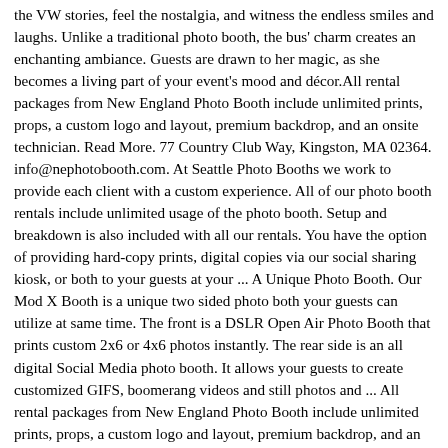the VW stories, feel the nostalgia, and witness the endless smiles and laughs. Unlike a traditional photo booth, the bus' charm creates an enchanting ambiance. Guests are drawn to her magic, as she becomes a living part of your event's mood and décor.All rental packages from New England Photo Booth include unlimited prints, props, a custom logo and layout, premium backdrop, and an onsite technician. Read More. 77 Country Club Way, Kingston, MA 02364. info@nephotobooth.com. At Seattle Photo Booths we work to provide each client with a custom experience. All of our photo booth rentals include unlimited usage of the photo booth. Setup and breakdown is also included with all our rentals. You have the option of providing hard-copy prints, digital copies via our social sharing kiosk, or both to your guests at your ... A Unique Photo Booth. Our Mod X Booth is a unique two sided photo both your guests can utilize at same time. The front is a DSLR Open Air Photo Booth that prints custom 2x6 or 4x6 photos instantly. The rear side is an all digital Social Media photo booth. It allows your guests to create customized GIFS, boomerang videos and still photos and ... All rental packages from New England Photo Booth include unlimited prints, props, a custom logo and layout, premium backdrop, and an onsite technician. Read More. 77 Country Club Way, Kingston, MA 02364. info@nephotobooth.com. Foto Master's DSLR photo booths typically generate a revenue of $1,000-$2,500 per event. Spire Photo Booth. The Spire is a revolutionary photo booth boasting an ultra-wide, 34″ display on each side and a retractable DSLR arm allowing for miraculous